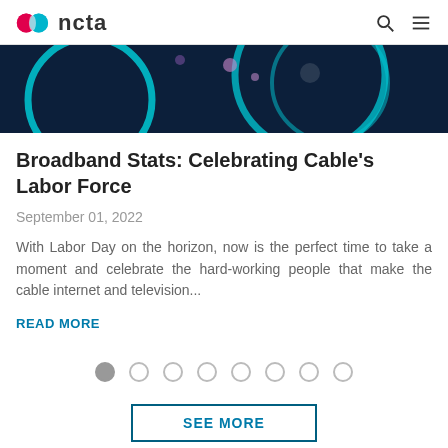ncta
[Figure (photo): Dark blue abstract background with glowing teal circular ring shapes and purple light spots, representing network or broadband connectivity.]
Broadband Stats: Celebrating Cable's Labor Force
September 01, 2022
With Labor Day on the horizon, now is the perfect time to take a moment and celebrate the hard-working people that make the cable internet and television...
READ MORE